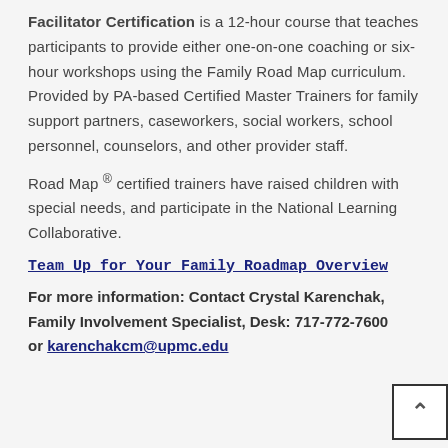Facilitator Certification is a 12-hour course that teaches participants to provide either one-on-one coaching or six-hour workshops using the Family Road Map curriculum. Provided by PA-based Certified Master Trainers for family support partners, caseworkers, social workers, school personnel, counselors, and other provider staff.
Road Map ® certified trainers have raised children with special needs, and participate in the National Learning Collaborative.
Team Up for Your Family Roadmap Overview
For more information: Contact Crystal Karenchak, Family Involvement Specialist, Desk: 717-772-7600 or karenchakcm@upmc.edu